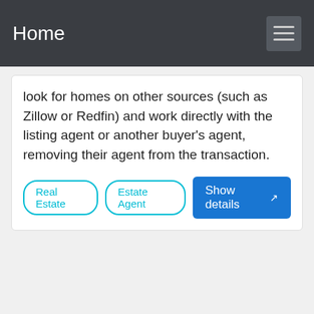Home
look for homes on other sources (such as Zillow or Redfin) and work directly with the listing agent or another buyer's agent, removing their agent from the transaction.
Real Estate
Estate Agent